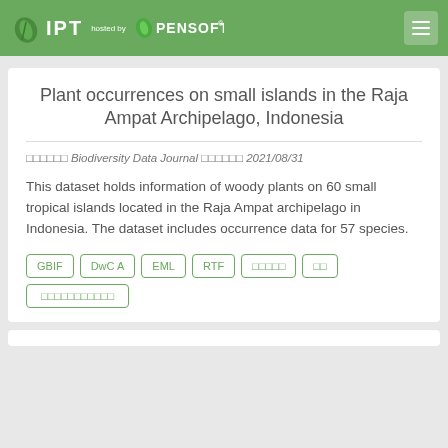IPT hosted by PENSOFT
Plant occurrences on small islands in the Raja Ampat Archipelago, Indonesia
□□□□□□ Biodiversity Data Journal □□□□□□ 2021/08/31
This dataset holds information of woody plants on 60 small tropical islands located in the Raja Ampat archipelago in Indonesia. The dataset includes occurrence data for 57 species.
GBIF | DwC A | EML | RTF | □□□□□ | □□ | □□□□□□□□□□□